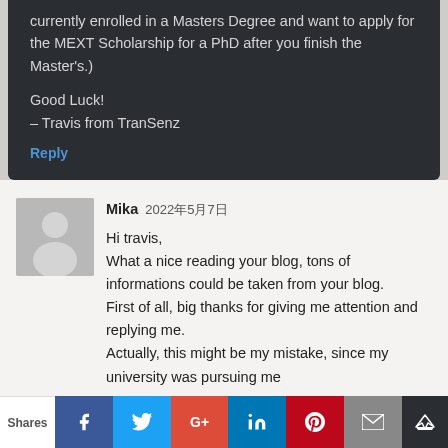currently enrolled in a Masters Degree and want to apply for the MEXT Scholarship for a PhD after you finish the Master's.)
Good Luck!
– Travis from TranSenz
Reply
Mika 2022年5月7日
Hi travis,
What a nice reading your blog, tons of informations could be taken from your blog.
First of all, big thanks for giving me attention and replying me.
Actually, this might be my mistake, since my university was pursuing me
Shares f t G+ in p [mail] [crown]